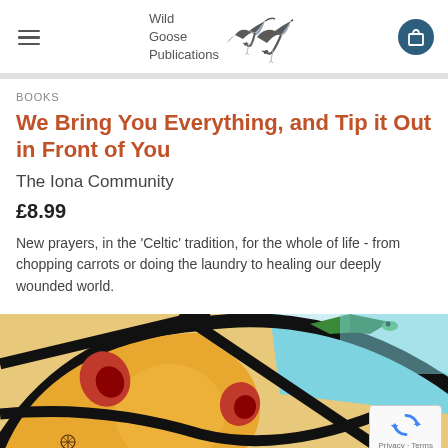Wild Goose Publications
BOOKS
We Bring You Everything, and Tip it Out in Front of You
The Iona Community
£8.99
New prayers, in the 'Celtic' tradition, for the whole of life - from chopping carrots or doing the laundry to healing our deeply wounded world.
[Figure (illustration): Colorful stained glass style artwork with bold black outlines showing abstract figures with red, orange, yellow, blue and green colors — a bird-like or Celtic-influenced illustration.]